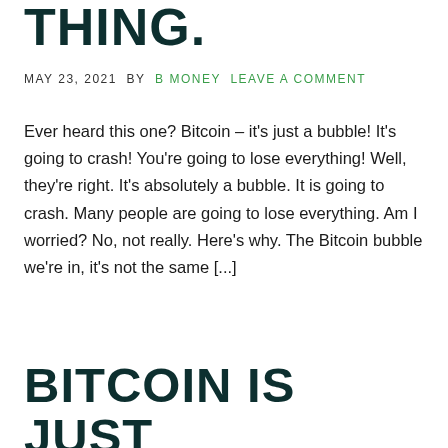THING.
MAY 23, 2021  BY  B MONEY  LEAVE A COMMENT
Ever heard this one? Bitcoin – it's just a bubble! It's going to crash! You're going to lose everything! Well, they're right. It's absolutely a bubble. It is going to crash. Many people are going to lose everything. Am I worried? No, not really. Here's why. The Bitcoin bubble we're in, it's not the same [...]
BITCOIN IS JUST SPECULATION! YES,